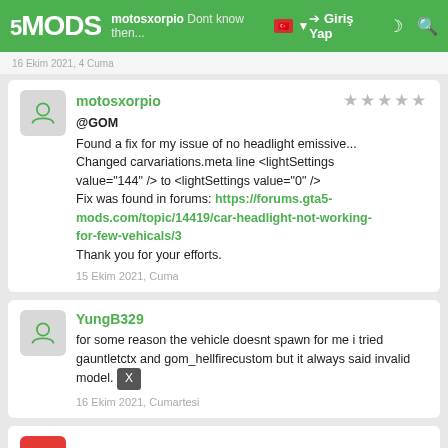5MODS — motosxorpio Dont know then... — Giriş Yap
motosxorpio
@GOM
Found a fix for my issue of no headlight emissive...
Changed carvariations.meta line <lightSettings value="144" /> to <lightSettings value="0" />
Fix was found in forums: https://forums.gta5-mods.com/topic/14419/car-headlight-not-working-for-few-vehicals/3
Thank you for your efforts.
15 Ekim 2021, Cuma
YungB329
for some reason the vehicle doesnt spawn for me i tried gauntletctx and gom_hellfirecustom but it always said invalid model.
16 Ekim 2021, Cumartesi